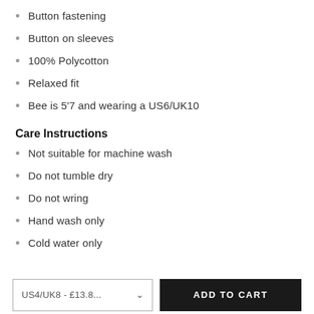Button fastening
Button on sleeves
100% Polycotton
Relaxed fit
Bee is 5'7 and wearing a US6/UK10
Care Instructions
Not suitable for machine wash
Do not tumble dry
Do not wring
Hand wash only
Cold water only
US4/UK8 - £13.8...
ADD TO CART